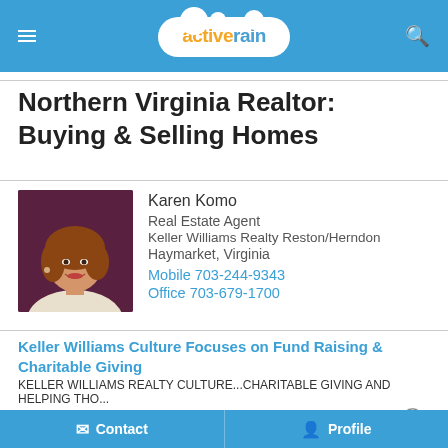activerain
Northern Virginia Realtor: Buying & Selling Homes
[Figure (photo): Photo of Karen Komo, Real Estate Agent, a woman with reddish-brown hair wearing a white top, against a dark purple/maroon background.]
Karen Komo
Real Estate Agent
Keller Williams Realty Reston/Herndon
Haymarket, Virginia
Mobile 703-244-9343
Office 703-679-1700
Keller Williams Culture Focuses on Fund Raising & Charitable Giving
KELLER WILLIAMS REALTY CULTURE...CHARITABLE GIVING AND HELPING THO...
July 11, 2010 09:23 AM
Take Your Fund Raising to the Next Level with FunDAZ Atlantic Shore New Jersey
A Win Win Benefit for Fund Raising Organizations and Good Allan...
Contact   Profile